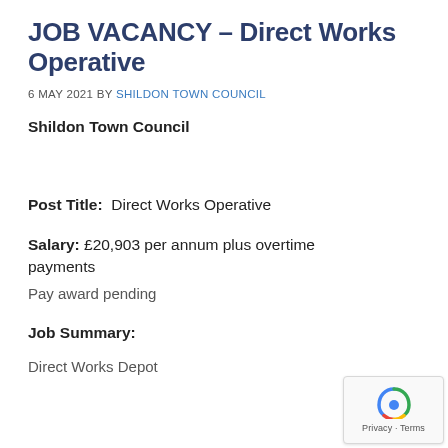JOB VACANCY – Direct Works Operative
6 MAY 2021 BY SHILDON TOWN COUNCIL
Shildon Town Council
Post Title:  Direct Works Operative
Salary: £20,903 per annum plus overtime payments
Pay award pending
Job Summary:
Direct Works Depot